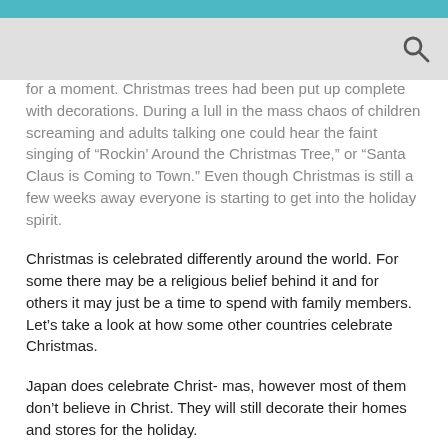for a moment. Christmas trees had been put up complete with decorations. During a lull in the mass chaos of children screaming and adults talking one could hear the faint singing of “Rockin’ Around the Christmas Tree,” or “Santa Claus is Coming to Town.” Even though Christmas is still a few weeks away everyone is starting to get into the holiday spirit.
Christmas is celebrated differently around the world. For some there may be a religious belief behind it and for others it may just be a time to spend with family members. Let’s take a look at how some other countries celebrate Christmas.
Japan does celebrate Christ- mas, however most of them don’t believe in Christ. They will still decorate their homes and stores for the holiday.
“We will celebrate Christmas just like it is celebrated by those whodo believe in Christ,” said Sachiko Takuechi, a student from Japan who is currently studying at Seton Hill University.